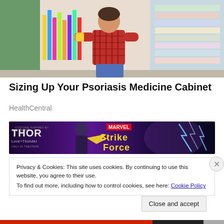[Figure (photo): Woman in red plaid shirt crouching in pharmacy aisle, examining product from shelf. Store shelves with colorful products visible in background.]
Sizing Up Your Psoriasis Medicine Cabinet
HealthCentral
[Figure (illustration): Marvel Strike Force advertisement banner featuring Thor Love and Thunder crossover promotion. Purple background with superhero characters and lightning effects.]
Privacy & Cookies: This site uses cookies. By continuing to use this website, you agree to their use.
To find out more, including how to control cookies, see here: Cookie Policy
Close and accept